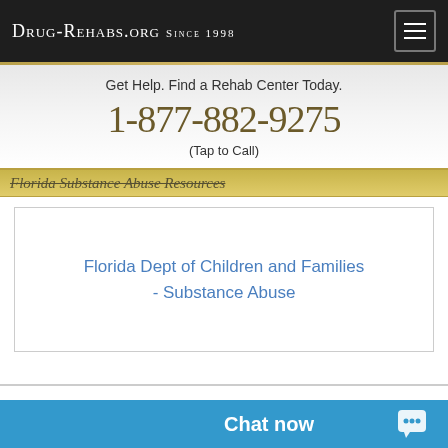Drug-Rehabs.org Since 1998
Get Help. Find a Rehab Center Today.
1-877-882-9275
(Tap to Call)
Florida Substance Abuse Resources
Florida Dept of Children and Families - Substance Abuse
Nationwide Drug Rehab Database
Over 25,000 Treatment Programs
Chat now